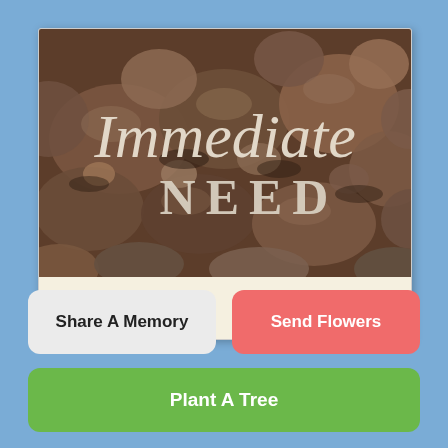[Figure (photo): Polaroid-style photo card with a background of river rocks/pebbles in brown and gray tones. Text overlaid on rocks reads 'Immediate' in large italic serif script and 'NEED' in bold spaced serif capitals below. The card has a white/cream bottom border like a Polaroid.]
Share A Memory
Send Flowers
Plant A Tree